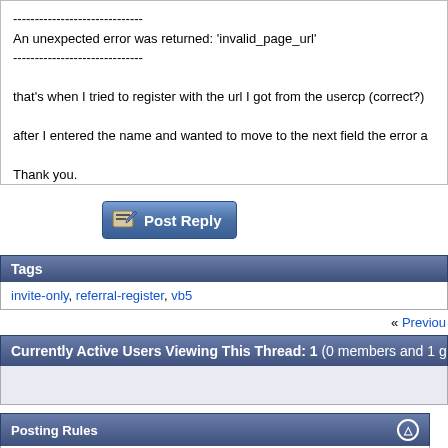And I got this error:
------------------------------
An unexpected error was returned: 'invalid_page_url'
------------------------------
that's when I tried to register with the url I got from the usercp (correct?)
after I entered the name and wanted to move to the next field the error a
Thank you.
[Figure (screenshot): Post Reply button with pencil/paper icon]
Tags
invite-only, referral-register, vb5
« Previous
Currently Active Users Viewing This Thread: 1 (0 members and 1 gu
Posting Rules
You may not post new threads
You may not post replies
You may not post attachments